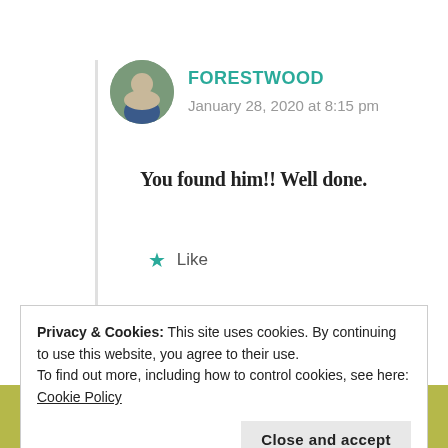FORESTWOOD
January 28, 2020 at 8:15 pm
You found him!! Well done.
★ Like
Log in to Reply
Privacy & Cookies: This site uses cookies. By continuing to use this website, you agree to their use.
To find out more, including how to control cookies, see here: Cookie Policy
Close and accept
January 28, 2020 at 8:06 pm